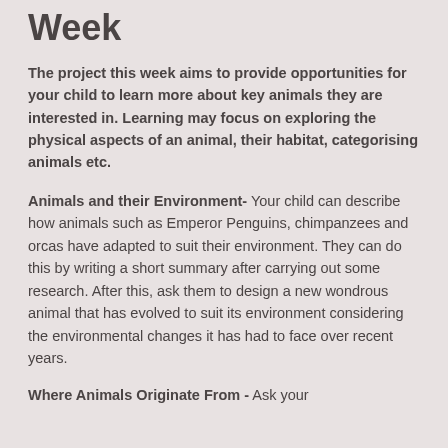Week
The project this week aims to provide opportunities for your child to learn more about key animals they are interested in. Learning may focus on exploring the physical aspects of an animal, their habitat, categorising animals etc.
Animals and their Environment- Your child can describe how animals such as Emperor Penguins, chimpanzees and orcas have adapted to suit their environment. They can do this by writing a short summary after carrying out some research. After this, ask them to design a new wondrous animal that has evolved to suit its environment considering the environmental changes it has had to face over recent years.
Where Animals Originate From - Ask your